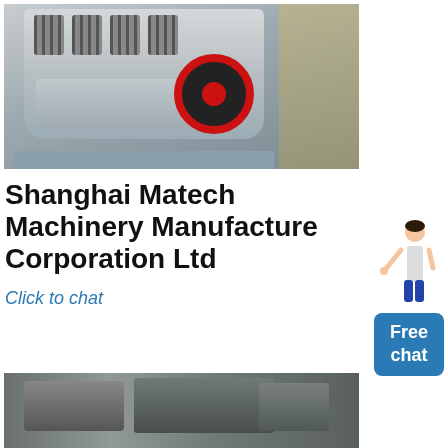[Figure (photo): Photograph of a large industrial cone crusher machine (Shanghai Matech) in a factory setting, showing the machine body with spring units on top and a large red-rimmed flywheel on the right side, mounted on a metal frame.]
Shanghai Matech Machinery Manufacture Corporation Ltd
Click to chat
[Figure (photo): Partial photograph of industrial machinery parts laid on a concrete floor, showing metal components including what appears to be a base or frame piece.]
[Figure (illustration): Sidebar graphic showing a person (woman in business attire) pointing, above a blue button labeled 'Free chat'.]